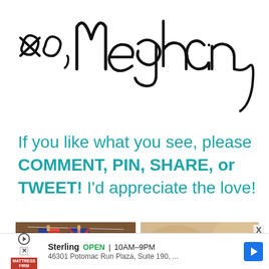[Figure (illustration): Handwritten signature in black ink reading 'xo, Meghan' in cursive script on white background]
If you like what you see, please COMMENT, PIN, SHARE, or TWEET! I'd appreciate the love!
[Figure (photo): Two photos side by side: left shows patriotic American flag decorations hanging on a wood-paneled background; right shows a hand holding a patriotic blue card with white stars, with blurred food items in background]
X
Sterling  OPEN | 10AM–9PM  46301 Potomac Run Plaza, Suite 190, ...